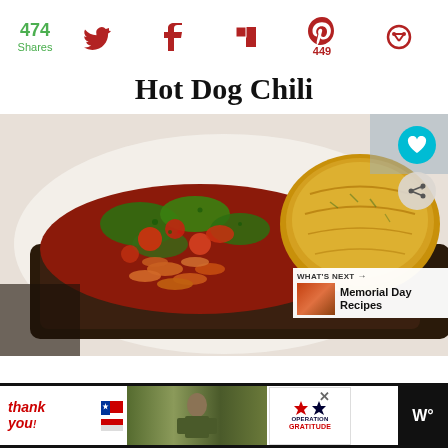474 Shares | Twitter | Facebook | Flipboard | Pinterest 449 | Other
Hot Dog Chili
[Figure (photo): Food photo showing hot dog chili served on dark bread with green peppers and tomatoes, alongside a golden baked roll on a white plate]
WHAT'S NEXT → Memorial Day Recipes
[Figure (photo): Advertisement banner: Thank you with American flag stars, soldier photo, Operation Gratitude logo, and weather widget]